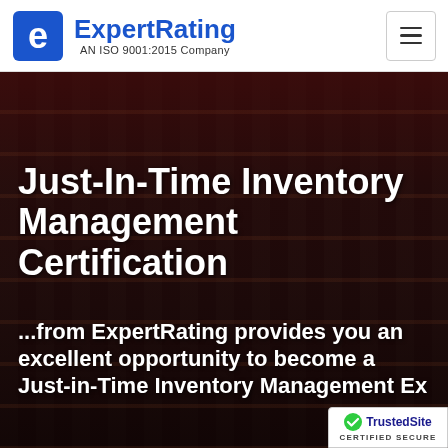ExpertRating — AN ISO 9001:2015 Company
Just-In-Time Inventory Management Certification
...from ExpertRating provides you an excellent opportunity to become a Just-in-Time Inventory Management Ex...
[Figure (logo): TrustedSite Certified Secure badge in bottom right corner]